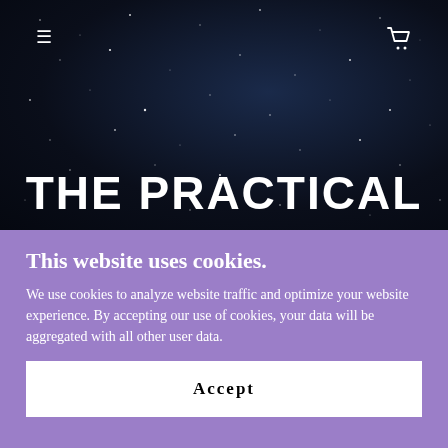[Figure (illustration): Dark night sky hero background with scattered stars, navigation hamburger menu icon top-left and shopping cart icon top-right]
THE PRACTICAL
This website uses cookies.
We use cookies to analyze website traffic and optimize your website experience. By accepting our use of cookies, your data will be aggregated with all other user data.
Accept